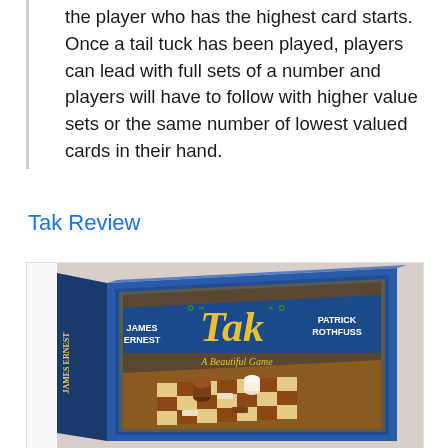the player who has the highest card starts. Once a tail tuck has been played, players can lead with full sets of a number and players will have to follow with higher value sets or the same number of lowest valued cards in their hand.
Tak Review
[Figure (photo): Photo of the Tak board game box. The box has a dark blue border and shows the game title 'Tak' in large gold letters with decorative vines. It also reads 'A Beautiful Game', 'James Ernest', and 'Patrick Rothfuss'. The box art shows wooden game pieces on a chess-like board with alternating light and dark squares.]